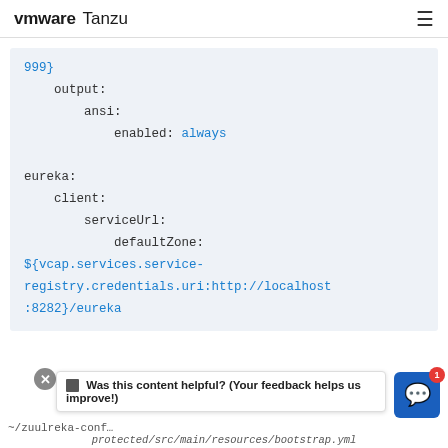vmware Tanzu
[Figure (screenshot): Code block showing YAML configuration with output, ansi, enabled: always, eureka, client, serviceUrl, defaultZone settings with a ${vcap.services.service-registry.credentials.uri:http://localhost:8282}/eureka value]
~/zuulreka-conf ... protected/src/main/resources/bootstrap.yml